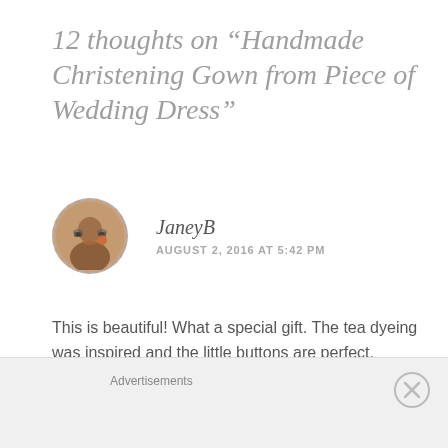12 thoughts on “Handmade Christening Gown from Piece of Wedding Dress”
JaneyB
AUGUST 2, 2016 AT 5:42 PM
This is beautiful! What a special gift. The tea dyeing was inspired and the little buttons are perfect.
★ Like
Advertisements